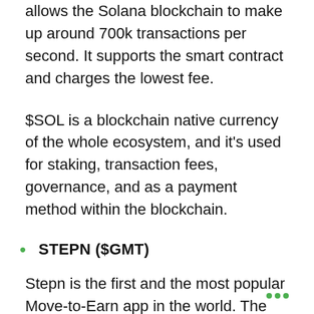allows the Solana blockchain to make up around 700k transactions per second. It supports the smart contract and charges the lowest fee.
$SOL is a blockchain native currency of the whole ecosystem, and it's used for staking, transaction fees, governance, and as a payment method within the blockchain.
STEPN ($GMT)
Stepn is the first and the most popular Move-to-Earn app in the world. The main aim of the project is a popularization of a healthy lifestyle. Stepn launched NFT sneakers, which users use to jog and walk while